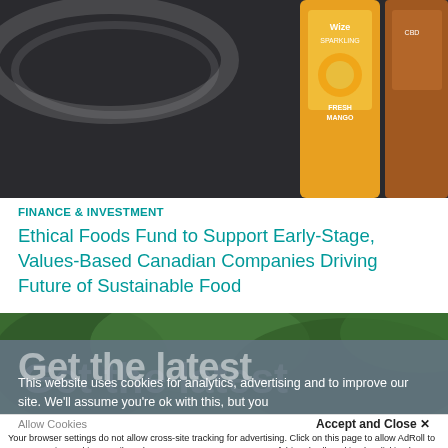[Figure (photo): Product photo showing beverage cans including a Wize sparkling drink with Fresh Mango flavor, on a dark background]
FINANCE & INVESTMENT
Ethical Foods Fund to Support Early-Stage, Values-Based Canadian Companies Driving Future of Sustainable Food
[Figure (photo): Blurred green foliage background with large white text overlay reading 'Get the latest' and cookie consent overlay]
This website uses cookies for analytics, advertising and to improve our site. We'll assume you're ok with this, but you
Allow Cookies
Accept and Close ✕
Your browser settings do not allow cross-site tracking for advertising. Click on this page to allow AdRoll to use cross-site tracking to tailor ads to you. Learn more or opt out of this AdRoll tracking by clicking here. This message only appears once.